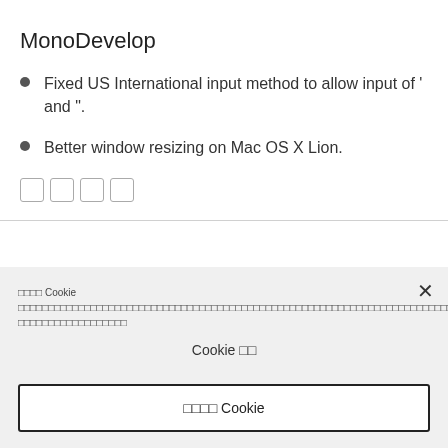MonoDevelop
Fixed US International input method to allow input of ' and ".
Better window resizing on Mac OS X Lion.
□□□□
□□□□ Cookie □□□□□□□□□□□□□□□□□□□□□□□□□□□□□□□□□□□□□□□□□□□□□□□□□□□□□□□□□□□□□□□□□□□□□□□□□□□□□□□□□□
Cookie □□
□□□□ Cookie